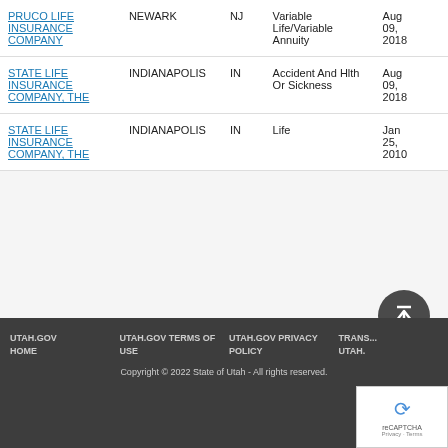| Company | City | State | Type | Date |
| --- | --- | --- | --- | --- |
| PRUCO LIFE INSURANCE COMPANY | NEWARK | NJ | Variable Life/Variable Annuity | Aug 09, 2018 |
| STATE LIFE INSURANCE COMPANY, THE | INDIANAPOLIS | IN | Accident And Hlth Or Sickness | Aug 09, 2018 |
| STATE LIFE INSURANCE COMPANY, THE | INDIANAPOLIS | IN | Life | Jan 25, 2010 |
UTAH.GOV HOME   UTAH.GOV TERMS OF USE   UTAH.GOV PRIVACY POLICY   TRANS... UTAH.   Copyright © 2022 State of Utah - All rights reserved.